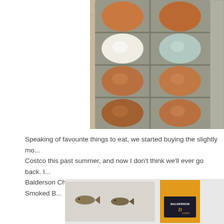[Figure (photo): Top-down view of an egg carton containing multiple eggs of varying colors: brown, white, and light blue/green eggs arranged in rows inside a grey cardboard egg carton on a wooden surface.]
Speaking of favourite things to eat, we started buying the slightly mo... Costco this past summer, and now I don't think we'll ever go back. I... Balderson Cheddar and Sam and I both loved the Double Smoked B...
[Figure (photo): Photo showing a Balderson Double Smoked cheddar cheese block (orange/yellow) with its packaging/label visible, alongside what appears to be a decorative item with fish designs, on a light background.]